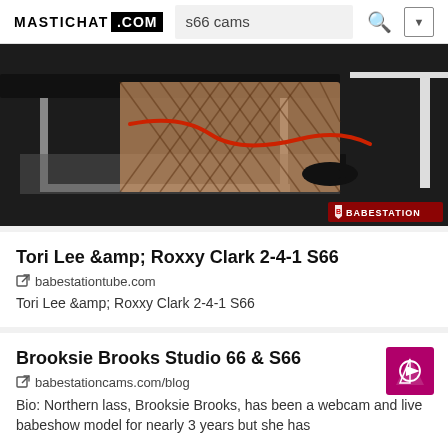MASTICHAT .COM — s66 cams
[Figure (photo): Partial photo of legs in fishnet stockings and high heels on a medical-style table, with a red rope/cord, Babestation watermark in bottom right corner.]
Tori Lee &amp;amp; Roxxy Clark 2-4-1 S66
babestationtube.com
Tori Lee &amp;amp; Roxxy Clark 2-4-1 S66
Brooksie Brooks Studio 66 & S66
babestationcams.com/blog
Bio: Northern lass, Brooksie Brooks, has been a webcam and live babeshow model for nearly 3 years but she has